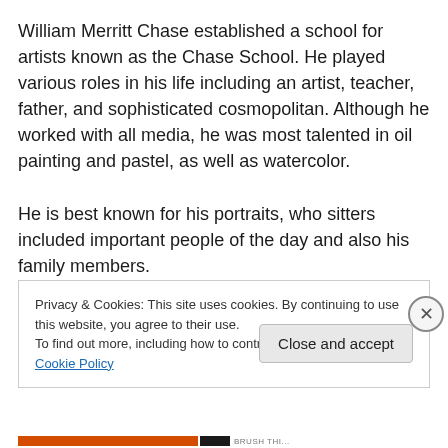William Merritt Chase established a school for artists known as the Chase School. He played various roles in his life including an artist, teacher, father, and sophisticated cosmopolitan. Although he worked with all media, he was most talented in oil painting and pastel, as well as watercolor.

He is best known for his portraits, who sitters included important people of the day and also his family members.
Privacy & Cookies: This site uses cookies. By continuing to use this website, you agree to their use. To find out more, including how to control cookies, see here: Cookie Policy